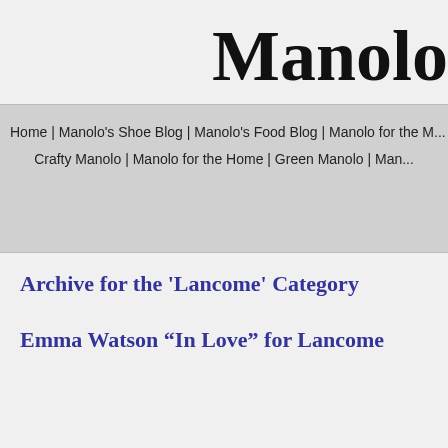Manolo
Home | Manolo's Shoe Blog | Manolo's Food Blog | Manolo for the M... Crafty Manolo | Manolo for the Home | Green Manolo | Man...
Archive for the 'Lancome' Category
Emma Watson “In Love” for Lancome